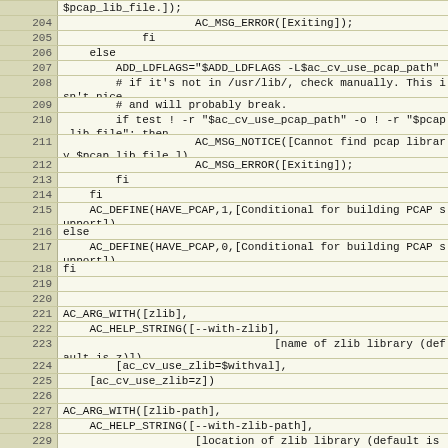[Figure (screenshot): Source code viewer showing lines 203-229 of a configure.ac or similar autoconf script, with line numbers on the left and code on the right. The code deals with pcap and zlib library detection using AC_MSG_ERROR, AC_DEFINE, and AC_ARG_WITH macros.]